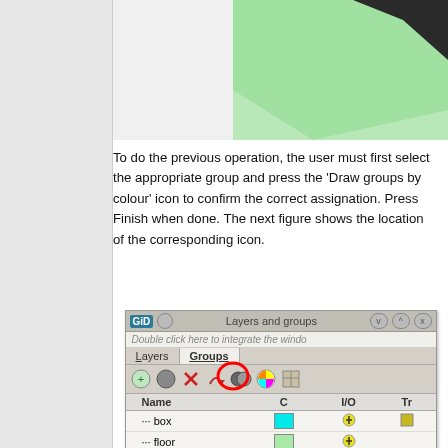[Figure (screenshot): Top portion of a 3D model screenshot showing a green surface with a dark object on it, cropped at the top of the page.]
To do the previous operation, the user must first select the appropriate group and press the 'Draw groups by colour' icon to confirm the correct assignation. Press Finish when done. The next figure shows the location of the corresponding icon.
[Figure (screenshot): Screenshot of a 'Layers and groups' UI panel showing tabs for Layers and Groups, a toolbar with icons (with the 'Draw groups by colour' icon circled in red), and a table with columns Name, C, I/O, Tr listing items 'box' and 'floor' with color swatches and icons.]